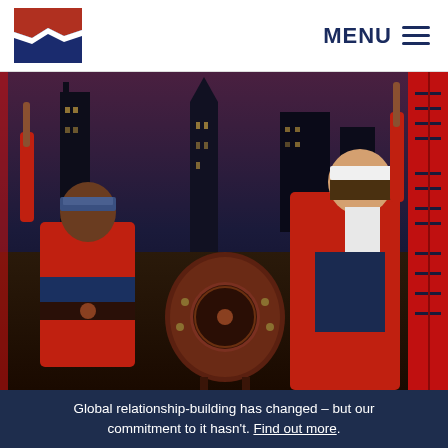[Figure (logo): Organization logo with red and blue abstract flag/land shape]
MENU ≡
[Figure (photo): Taiko drummers in red robes performing on stage with a nighttime cityscape backdrop. Two drummers hold drumsticks raised high; a large taiko drum is visible in the center. A red banner with Japanese characters is on the right.]
Global relationship-building has changed – but our commitment to it hasn't. Find out more.